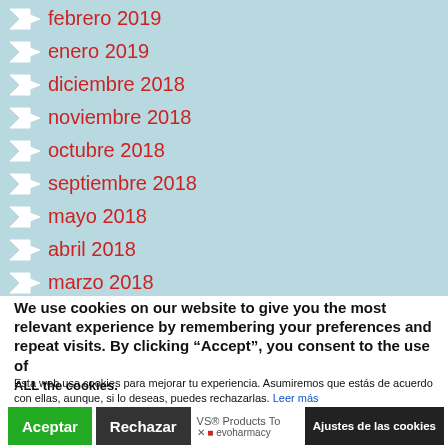febrero 2019
enero 2019
diciembre 2018
noviembre 2018
octubre 2018
septiembre 2018
mayo 2018
abril 2018
marzo 2018
We use cookies on our website to give you the most relevant experience by remembering your preferences and repeat visits. By clicking “Accept”, you consent to the use of ALL the cookies.
Esta web usa cookies para mejorar tu experiencia. Asumiremos que estás de acuerdo con ellas, aunque, si lo deseas, puedes rechazarlas. Leer más
Aceptar | Rechazar | Ajustes de las cookies